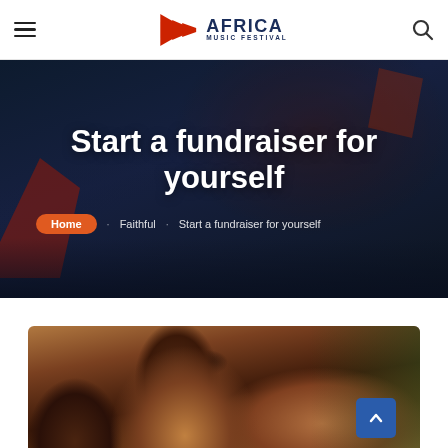Africa Music Festival — navigation header with hamburger menu, logo, and search icon
[Figure (screenshot): Hero banner with dark blue crowd background, orange/red accents. Large white bold text reads 'Start a fundraiser for yourself'. Breadcrumb below: Home (orange pill) > Faithful > Start a fundraiser for yourself]
[Figure (photo): Close-up photo of a young African child's face looking upward, warm brown tones, green background on right side]